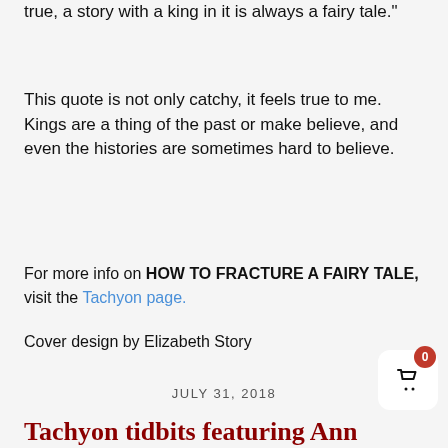true, a story with a king in it is always a fairy tale."
This quote is not only catchy, it feels true to me. Kings are a thing of the past or make believe, and even the histories are sometimes hard to believe.
For more info on HOW TO FRACTURE A FAIRY TALE, visit the Tachyon page.
Cover design by Elizabeth Story
JULY 31, 2018
Tachyon tidbits featuring Ann